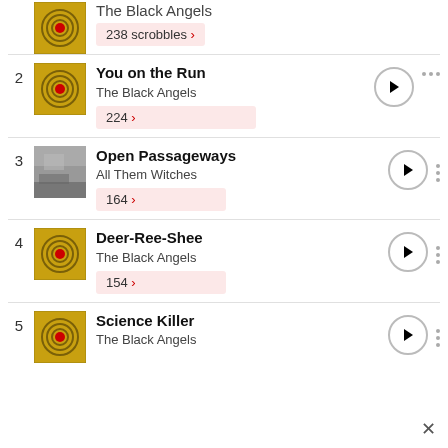1. The Black Angels — 238 scrobbles
2. You on the Run — The Black Angels — 224 scrobbles
3. Open Passageways — All Them Witches — 164 scrobbles
4. Deer-Ree-Shee — The Black Angels — 154 scrobbles
5. Science Killer — The Black Angels